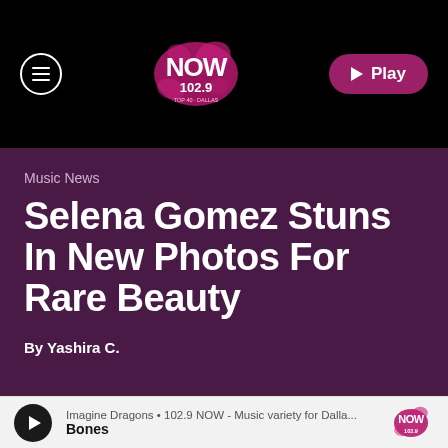[Figure (logo): NOW 102.9 radio station logo — white text with pink/magenta splatter design on black header bar. Menu hamburger icon on left, Play button (pink pill) on right.]
Music News
Selena Gomez Stuns In New Photos For Rare Beauty
By Yashira C.
Imagine Dragons • 102.9 NOW - Music variety for Dalla...
Bones